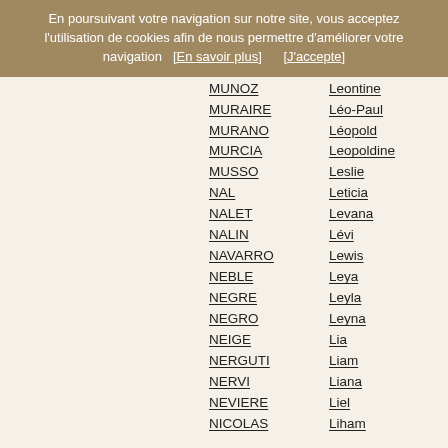En poursuivant votre navigation sur notre site, vous acceptez l'utilisation de cookies afin de nous permettre d'améliorer votre navigation   [En savoir plus]       [J'accepte]
MUNOZ — Leontine
MURAIRE — Léo-Paul
MURANO — Léopold
MURCIA — Leopoldine
MUSSO — Leslie
NAL — Leticia
NALET — Levana
NALIN — Lévi
NAVARRO — Lewis
NEBLE — Leya
NEGRE — Leyla
NEGRO — Leyna
NEIGE — Lia
NERGUTI — Liam
NERVI — Liana
NEVIERE — Liel
NICOLAS — Liham
NICOU — Lila
NIEL — Lilas
NILLAS — Lili
NOAD — Lilia